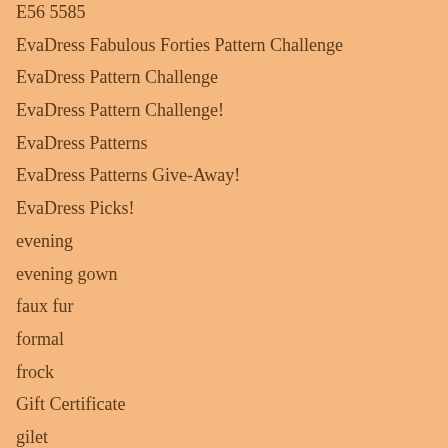E56 5585
EvaDress Fabulous Forties Pattern Challenge
EvaDress Pattern Challenge
EvaDress Pattern Challenge!
EvaDress Patterns
EvaDress Patterns Give-Away!
EvaDress Picks!
evening
evening gown
faux fur
formal
frock
Gift Certificate
gilet